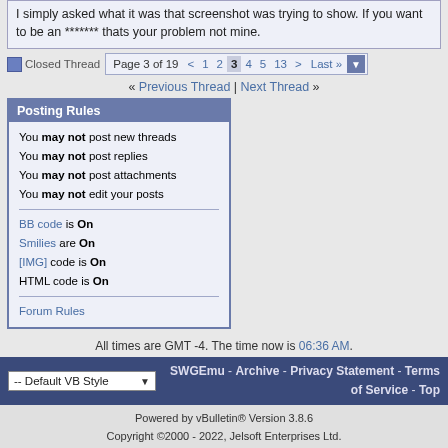I simply asked what it was that screenshot was trying to show. If you want to be an ******* thats your problem not mine.
[Figure (screenshot): Forum pagination bar showing 'Closed Thread' icon and page navigation: Page 3 of 19, with links to pages 1, 2, 3 (current), 4, 5, 13, and Last.]
« Previous Thread | Next Thread »
Posting Rules
You may not post new threads
You may not post replies
You may not post attachments
You may not edit your posts
BB code is On
Smilies are On
[IMG] code is On
HTML code is On
Forum Rules
All times are GMT -4. The time now is 06:36 AM.
-- Default VB Style | SWGEmu - Archive - Privacy Statement - Terms of Service - Top
Powered by vBulletin® Version 3.8.6
Copyright ©2000 - 2022, Jelsoft Enterprises Ltd.
All Contents Copyright © 2004-2010, SWGEmu.